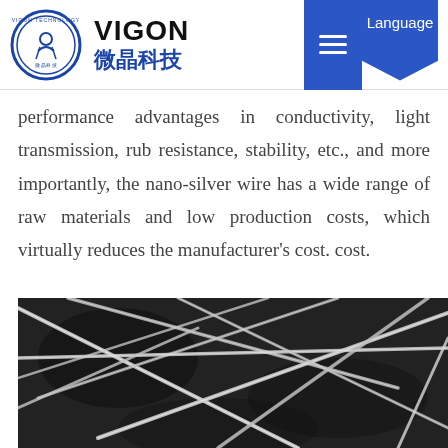VIGON 微晶科技
performance advantages in conductivity, light transmission, rub resistance, stability, etc., and more importantly, the nano-silver wire has a wide range of raw materials and low production costs, which virtually reduces the manufacturer's cost. cost.
[Figure (photo): Microscopic image of nano-silver wires on a dark background, showing a network of thin white/silver wire strands crossing each other at various angles against a black background.]